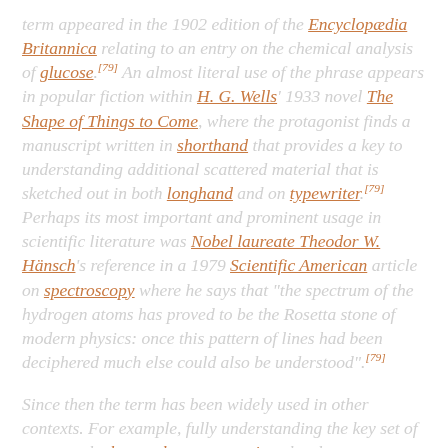term appeared in the 1902 edition of the Encyclopædia Britannica relating to an entry on the chemical analysis of glucose.[79] An almost literal use of the phrase appears in popular fiction within H. G. Wells' 1933 novel The Shape of Things to Come, where the protagonist finds a manuscript written in shorthand that provides a key to understanding additional scattered material that is sketched out in both longhand and on typewriter.[79] Perhaps its most important and prominent usage in scientific literature was Nobel laureate Theodor W. Hänsch's reference in a 1979 Scientific American article on spectroscopy where he says that "the spectrum of the hydrogen atoms has proved to be the Rosetta stone of modern physics: once this pattern of lines had been deciphered much else could also be understood".[79]
Since then the term has been widely used in other contexts. For example, fully understanding the key set of genes to the human leucocyte antigen has been